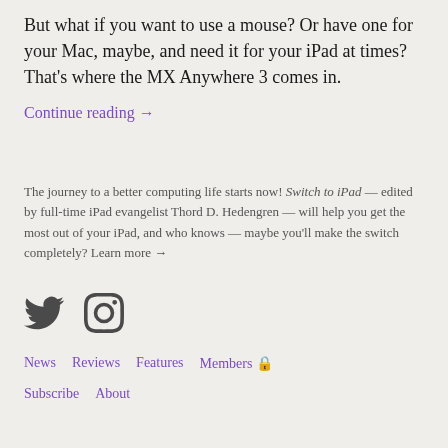But what if you want to use a mouse? Or have one for your Mac, maybe, and need it for your iPad at times? That's where the MX Anywhere 3 comes in.
Continue reading →
The journey to a better computing life starts now! Switch to iPad — edited by full-time iPad evangelist Thord D. Hedengren — will help you get the most out of your iPad, and who knows — maybe you'll make the switch completely? Learn more →
[Figure (illustration): Twitter bird icon and Instagram camera icon in dark grey]
News   Reviews   Features   Members 🔒
Subscribe   About